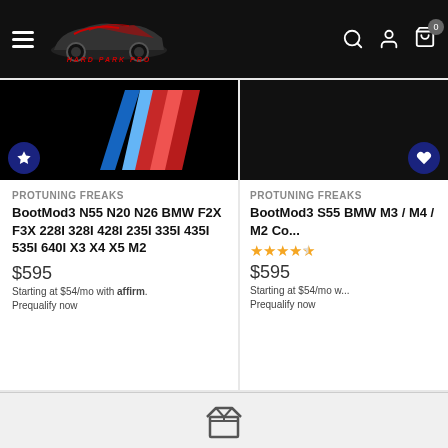Hard Park Pro navigation header with logo, hamburger menu, search, account, and cart icons
[Figure (screenshot): BMW M-stripe logo image on black background for first product]
PROTUNING FREAKS
BootMod3 N55 N20 N26 BMW F2X F3X 228I 328I 428I 235I 335I 435I 535I 640I X3 X4 X5 M2
$595
Starting at $54/mo with affirm. Prequalify now
[Figure (screenshot): Black background image for second product (BootMod3 S55)]
PROTUNING FREAKS
BootMod3 S55 BMW M3 / M4 / M2 Co...
$595
Starting at $54/mo w... Prequalify now
[Figure (illustration): Shipping/package box icon at bottom center]